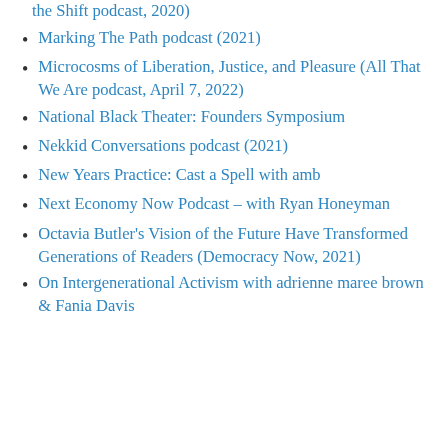the Shift podcast, 2020)
Marking The Path podcast (2021)
Microcosms of Liberation, Justice, and Pleasure (All That We Are podcast, April 7, 2022)
National Black Theater: Founders Symposium
Nekkid Conversations podcast (2021)
New Years Practice: Cast a Spell with amb
Next Economy Now Podcast – with Ryan Honeyman
Octavia Butler's Vision of the Future Have Transformed Generations of Readers (Democracy Now, 2021)
On Intergenerational Activism with adrienne maree brown & Fania Davis